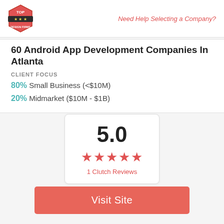Top Design Firms | Need Help Selecting a Company?
60 Android App Development Companies In Atlanta
CLIENT FOCUS
80% Small Business (<$10M)
20% Midmarket ($10M - $1B)
[Figure (infographic): Rating card showing 5.0 score with 5 red stars and '1 Clutch Reviews' text]
Visit Site